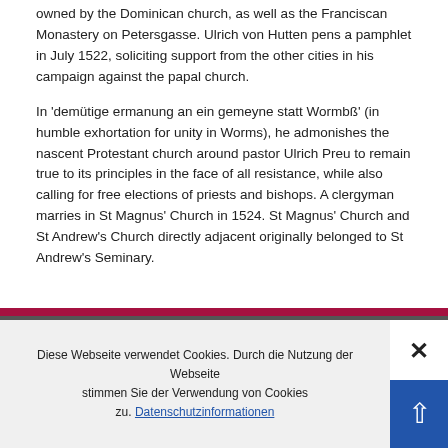owned by the Dominican church, as well as the Franciscan Monastery on Petersgasse. Ulrich von Hutten pens a pamphlet in July 1522, soliciting support from the other cities in his campaign against the papal church.
In 'demütige ermanung an ein gemeyne statt Wormbß' (in humble exhortation for unity in Worms), he admonishes the nascent Protestant church around pastor Ulrich Preu to remain true to its principles in the face of all resistance, while also calling for free elections of priests and bishops. A clergyman marries in St Magnus' Church in 1524. St Magnus' Church and St Andrew's Church directly adjacent originally belonged to St Andrew's Seminary.
Diese Webseite verwendet Cookies. Durch die Nutzung der Webseite stimmen Sie der Verwendung von Cookies zu. Datenschutzinformationen